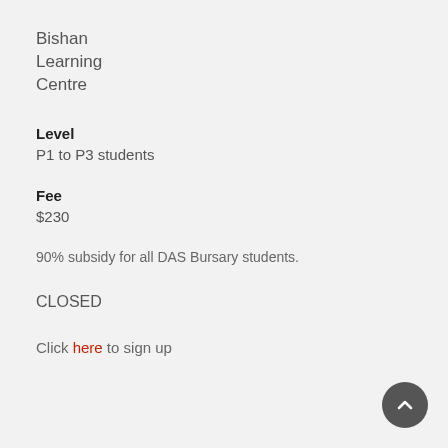Bishan
Learning
Centre
Level
P1 to P3 students
Fee
$230
90% subsidy for all DAS Bursary students.
CLOSED
Click here to sign up